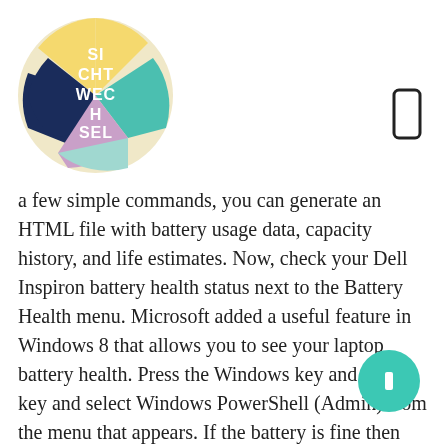[Figure (logo): Circular colorful logo with text SICHTWECHSEL in white, overlapping colored sections: yellow, dark blue, teal, pink/purple]
[Figure (other): Smartphone outline icon (rectangle with rounded corners)]
a few simple commands, you can generate an HTML file with battery usage data, capacity history, and life estimates. Now, check your Dell Inspiron battery health status next to the Battery Health menu. Microsoft added a useful feature in Windows 8 that allows you to see your laptop battery health. Press the Windows key and the X key and select Windows PowerShell (Admin) from the menu that appears. If the battery is fine then you may see This battery is performing normally. This will generate a report called energy-report.html located in the Windows\system32 folder on your C: drive. The report will
[Figure (other): Teal circular button with a pause or info icon in white]